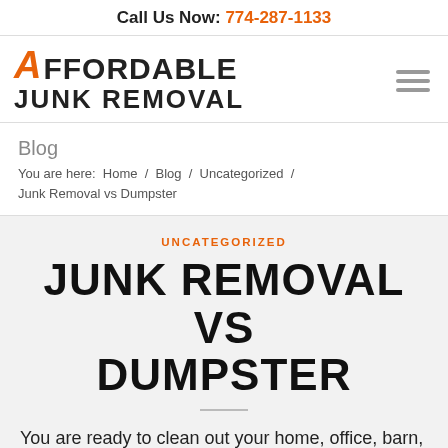Call Us Now: 774-287-1133
[Figure (logo): Affordable Junk Removal logo with orange slanted A and bold black text]
Blog
You are here: Home / Blog / Uncategorized / Junk Removal vs Dumpster
UNCATEGORIZED
JUNK REMOVAL VS DUMPSTER
You are ready to clean out your home, office, barn,